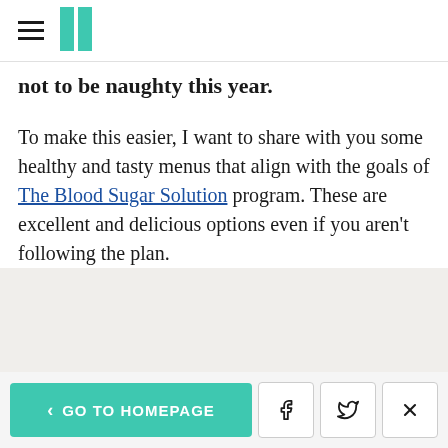HuffPost navigation logo
not to be naughty this year.
To make this easier, I want to share with you some healthy and tasty menus that align with the goals of The Blood Sugar Solution program. These are excellent and delicious options even if you aren't following the plan.
ADVERTISEMENT
< GO TO HOMEPAGE  [Facebook] [Twitter] [X]